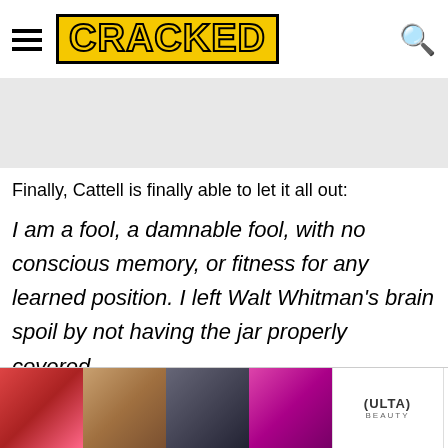CRACKED
[Figure (photo): Gray placeholder image area (partial article image)]
Finally, Cattell is finally able to let it all out:
I am a fool, a damnable fool, with no conscious memory, or fitness for any learned position. I left Walt Whitman's brain spoil by not having the jar properly covered.
However, fearing his reputation would be forever ruined, Cattell could do nothing except let Whitman's
[Figure (other): Ulta Beauty advertisement banner with cosmetic images and SHOP NOW call to action]